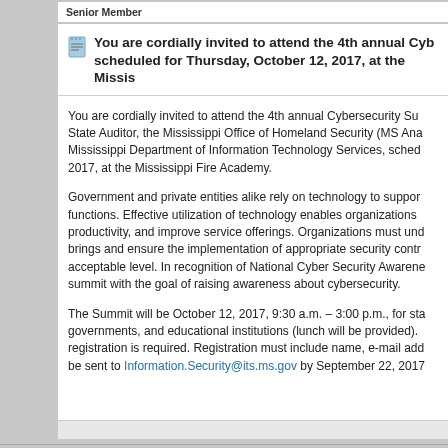Senior Member
You are cordially invited to attend the 4th annual Cybersecurity Summit scheduled for Thursday, October 12, 2017, at the Mississippi Fire Academy.
You are cordially invited to attend the 4th annual Cybersecurity Summit co-hosted by the State Auditor, the Mississippi Office of Homeland Security (MS Ana...) and the Mississippi Department of Information Technology Services, scheduled for October 12, 2017, at the Mississippi Fire Academy.
Government and private entities alike rely on technology to support their essential functions. Effective utilization of technology enables organizations to increase productivity, and improve service offerings. Organizations must understand the risk it brings and ensure the implementation of appropriate security controls to reduce risk to an acceptable level. In recognition of National Cyber Security Awareness Month, we are holding this summit with the goal of raising awareness about cybersecurity.
The Summit will be October 12, 2017, 9:30 a.m. – 3:00 p.m., for state agencies, local governments, and educational institutions (lunch will be provided). Attendance is free but registration is required. Registration must include name, e-mail address, and agency and be sent to Information.Security@its.ms.gov by September 22, 2017.